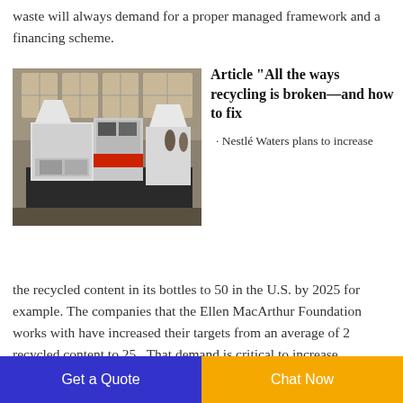waste will always demand for a proper managed framework and a financing scheme.
[Figure (photo): Industrial recycling machine in a factory setting — a large white and red mechanical device with hoppers and processing units on a concrete floor inside an industrial building with windows.]
Article "All the ways recycling is broken—and how to fix
Nestlé Waters plans to increase the recycled content in its bottles to 50 in the U.S. by 2025 for example. The companies that the Ellen MacArthur Foundation works with have increased their targets from an average of 2 recycled content to 25 . That demand is critical to increase recycling
Get a Quote
Chat Now